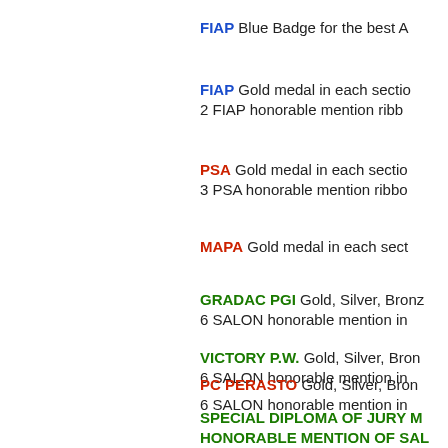FIAP Blue Badge for the best A
FIAP Gold medal in each sectio 2 FIAP honorable mention ribb
PSA Gold medal in each sectio 3 PSA honorable mention ribbo
MAPA Gold medal in each sect
GRADAC PGI Gold, Silver, Bronz 6 SALON honorable mention in
VICTORY P.W. Gold, Silver, Bron 6 SALON honorable mention in
PC PERASTO Gold, Silver, Bron 6 SALON honorable mention in
SPECIAL DIPLOMA OF JURY M HONORABLE MENTION OF SAL